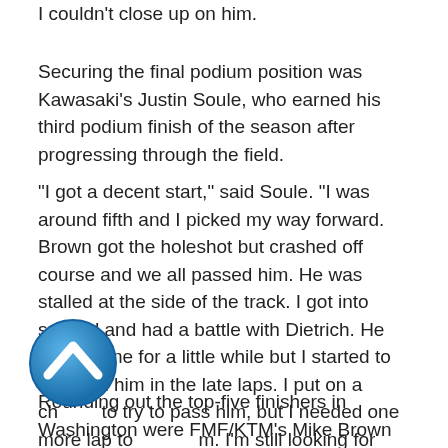I couldn't close up on him.
Securing the final podium position was Kawasaki's Justin Soule, who earned his third podium finish of the season after progressing through the field.
“I got a decent start,” said Soule. “I was around fifth and I picked my way forward. Brown got the holeshot but crashed off course and we all passed him. He was stalled at the side of the track. I got into second and had a battle with Dietrich. He gapped me for a little while but I started to close on him in the late laps. I put on a charge to try to pass him, but I needed one more lap to pass him. I’m still looking for that first win, but I’m happy to be on the podium again.”
Rounding out the top-five finishers in Washington were FMF/KTM’s Mike Brown and Husqvarna’s Bobby